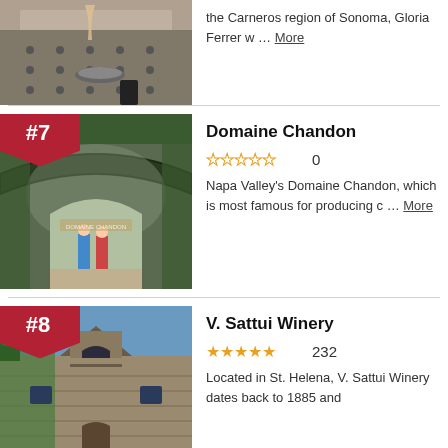[Figure (photo): Top partial view of winery table with drinks]
the Carneros region of Sonoma, Gloria Ferrer w … More
[Figure (photo): Domaine Chandon winery entrance with arched trellis, ranked #7]
Domaine Chandon
0 (star rating)
Napa Valley's Domaine Chandon, which is most famous for producing c … More
[Figure (photo): V. Sattui Winery stone building exterior, ranked #8]
V. Sattui Winery
232 (star rating)
Located in St. Helena, V. Sattui Winery dates back to 1885 and